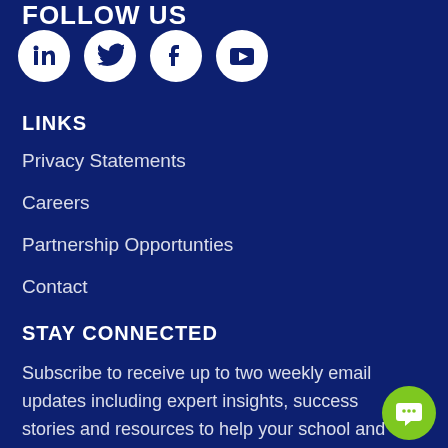FOLLOW US
[Figure (illustration): Four social media icons in white circles: LinkedIn, Twitter, Facebook, YouTube]
LINKS
Privacy Statements
Careers
Partnership Opportunties
Contact
STAY CONNECTED
Subscribe to receive up to two weekly email updates including expert insights, success stories and resources to help your school and community